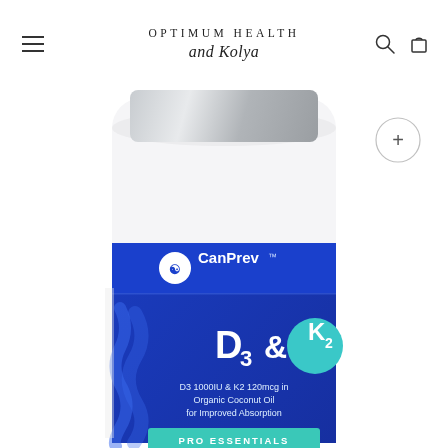OPTIMUM HEALTH and Kolya
[Figure (photo): A white supplement bottle with a silver cap and a blue label. The label shows the CanPrev brand logo with a double-helix icon, and reads 'D3 & K2' in large white text with K2 in a teal circle. Below it states 'D3 1000IU & K2 120mcg in Organic Coconut Oil for Improved Absorption'. At the bottom of the label in a teal bar: 'PRO ESSENTIALS'. A wavy blue decorative element is on the left side of the label. A zoom/expand button (+) appears in the upper right of the image area.]